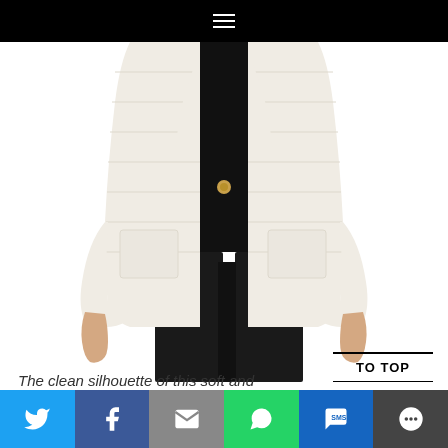Navigation menu (hamburger icon)
[Figure (photo): A woman wearing a cream/white fluffy/textured open-front cardigan coat with two front patch pockets, paired with dark pants. Only the torso and lower body are visible.]
TO TOP
The clean silhouette of this soft and
[Figure (infographic): Social media share bar with icons for Twitter, Facebook, Email, WhatsApp, SMS, and More options.]